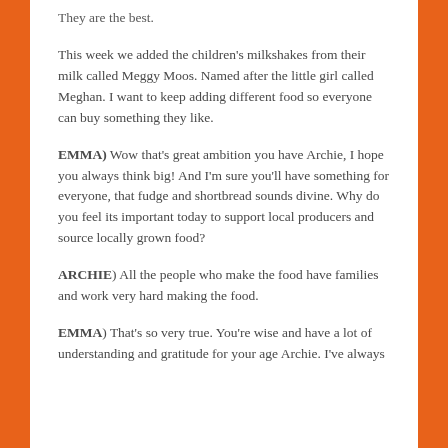They are the best.
This week we added the children's milkshakes from their milk called Meggy Moos. Named after the little girl called Meghan. I want to keep adding different food so everyone can buy something they like.
EMMA) Wow that's great ambition you have Archie, I hope you always think big! And I'm sure you'll have something for everyone, that fudge and shortbread sounds divine. Why do you feel its important today to support local producers and source locally grown food?
ARCHIE) All the people who make the food have families and work very hard making the food.
EMMA) That's so very true. You're wise and have a lot of understanding and gratitude for your age Archie. I've always